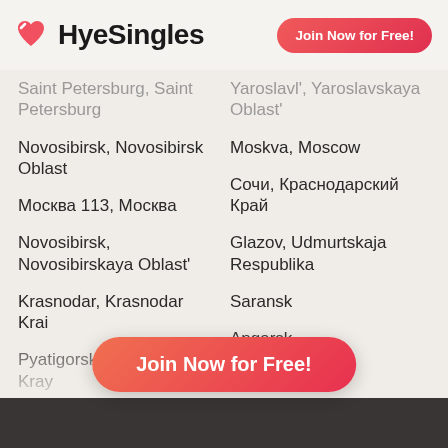[Figure (logo): HyeSingles logo with heart icon]
Join Now for Free! (top button)
Saint Petersburg, Saint Petersburg
Yaroslavl', Yaroslavskaya Oblast'
Novosibirsk, Novosibirsk Oblast
Moskva, Moscow
Москва 113, Москва
Сочи, Краснодарский Край
Novosibirsk, Novosibirskaya Oblast'
Glazov, Udmurtskaja Respublika
Krasnodar, Krasnodar Krai
Saransk
Pyatigorsk, Stavropolskiy Kray
Angarsk
Yekaterinburg, Sverdlovskaya Obl...
Join Now for Free! (bottom button)